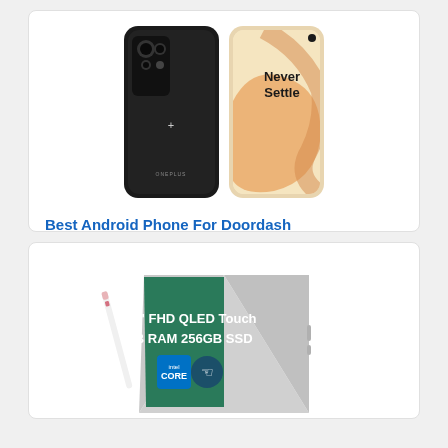[Figure (photo): OnePlus 8 Pro smartphone shown from back (black) and front (golden/cream color with Never Settle text), displayed side by side]
Best Android Phone For Doordash
[Figure (photo): Samsung laptop/tablet convertible 2-in-1 in tent mode showing screen with text '13.3" FHD QLED Touch 8GB RAM 256GB SSD' and Intel Core badge, with stylus pen beside it]